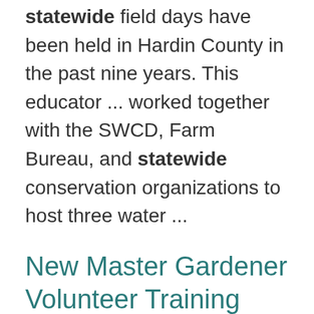statewide field days have been held in Hardin County in the past nine years. This educator ... worked together with the SWCD, Farm Bureau, and statewide conservation organizations to host three water ...
New Master Gardener Volunteer Training
https://clermont.osu.edu/events/new-master-gardener-volunteer-training-0
The Master Gardener Program provides intensive training in horticulture to interested gardeners ... who then volunteer their time assisting with educational